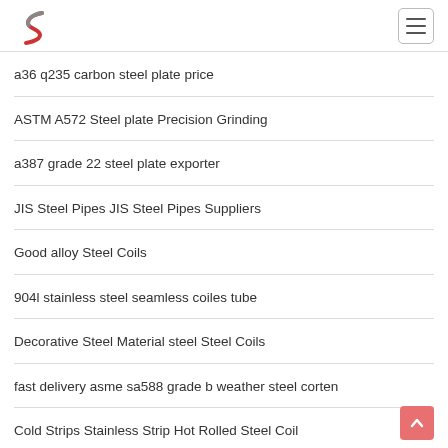Logo and navigation
a36 q235 carbon steel plate price
ASTM A572 Steel plate Precision Grinding
a387 grade 22 steel plate exporter
JIS Steel Pipes JIS Steel Pipes Suppliers
Good alloy Steel Coils
904l stainless steel seamless coiles tube
Decorative Steel Material steel Steel Coils
fast delivery asme sa588 grade b weather steel corten
Cold Strips Stainless Strip Hot Rolled Steel Coil